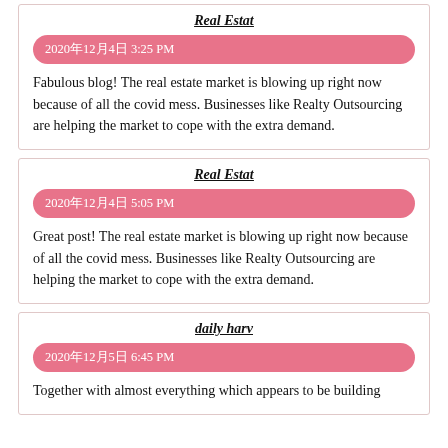Real Estat
2020年12月4日 3:25 PM
Fabulous blog! The real estate market is blowing up right now because of all the covid mess. Businesses like Realty Outsourcing are helping the market to cope with the extra demand.
Real Estat
2020年12月4日 5:05 PM
Great post! The real estate market is blowing up right now because of all the covid mess. Businesses like Realty Outsourcing are helping the market to cope with the extra demand.
daily harv
2020年12月5日 6:45 PM
Together with almost everything which appears to be building